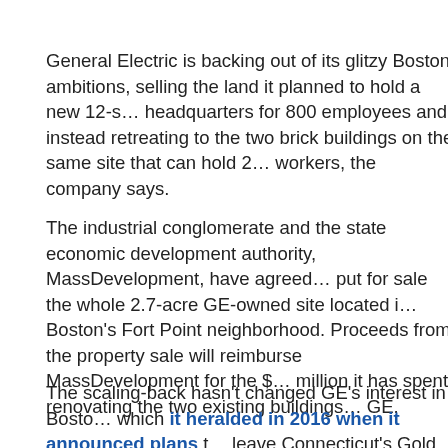General Electric is backing out of its glitzy Boston ambitions, selling the land it planned to hold a new 12-s… headquarters for 800 employees and instead retreating to the two brick buildings on the same site that can hold 2… workers, the company says.
The industrial conglomerate and the state economic development authority, MassDevelopment, have agreed… put for sale the whole 2.7-acre GE-owned site located i… Boston's Fort Point neighborhood. Proceeds from the property sale will reimburse MassDevelopment for the $… million it has spent renovating the two existing buildings… GE.
The scaling-back hasn't changed GE's interest in Bosto… which it heralded in 2016 when it announced plans t… leave Connecticut's Gold Coast for the Bay State. The…